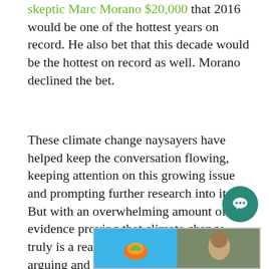skeptic Marc Morano $20,000 that 2016 would be one of the hottest years on record. He also bet that this decade would be the hottest on record as well. Morano declined the bet.
These climate change naysayers have helped keep the conversation flowing, keeping attention on this growing issue and prompting further research into it. But with an overwhelming amount of evidence proving that climate change truly is a real problem, it's time to stop arguing and start working towards creating a cleaner, safer, and more sustainable future.
[Figure (photo): Partial image strip showing two images side by side: left appears to be a colorful graphic/logo on blue background, right appears to be a photo of a person outdoors]